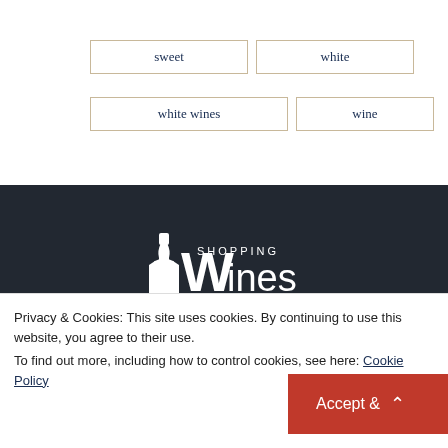sweet
white
white wines
wine
[Figure (logo): Shopping Wines logo with white wine bottle silhouette and text 'SHOPPING Wines' on dark background]
Privacy & Cookies: This site uses cookies. By continuing to use this website, you agree to their use.
To find out more, including how to control cookies, see here: Cookie Policy